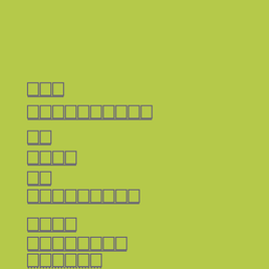[Figure (other): Green background page with rows of small outlined rectangular character boxes arranged in lines, resembling redacted or placeholder text blocks in purple/dark violet color on lime green background.]